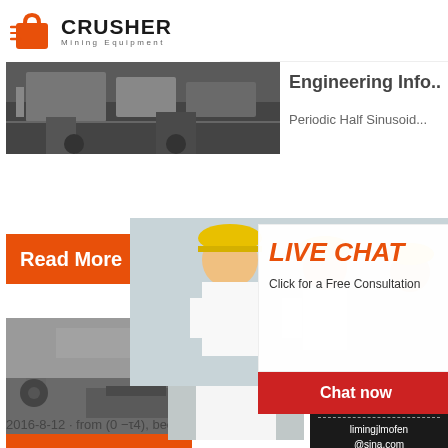[Figure (logo): Crusher Mining Equipment logo with orange shopping bag icon and bold CRUSHER text]
Engineering Info...
Periodic Half Sinusoid...
[Figure (photo): Industrial mining/crushing equipment in a facility]
Read More
24Hrs Online
[Figure (photo): Live chat overlay with workers in yellow hard hats and a customer service representative]
LIVE CHAT
Click for a Free Consultation
Chat now
Chat later
[Figure (photo): Aerial view of mining/crushing operation with conveyors and equipment]
Wavefc...
Universi...
Arizona...
2016-8-12 · from (0 −τ4), because of the sym...
Read More
Need questions & suggestion?
Chat Now
Enquiry
limingjlmofen@sina.com